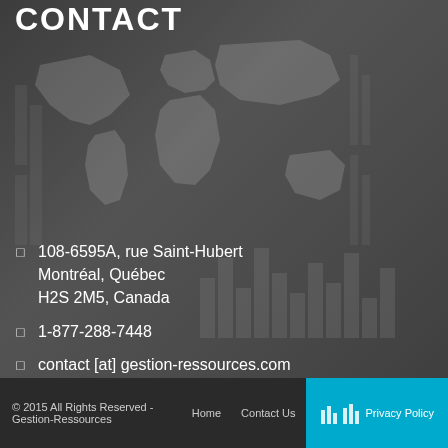CONTACT
[Figure (illustration): Dark background with world map overlay and financial bar chart graphics]
108-6595A, rue Saint-Hubert Montréal, Québec H2S 2M5, Canada
1-877-288-7448
contact [at] gestion-ressources.com
Support
© 2015 All Rights Reserved - Gestion-Ressources   Home   Contact Us   Privacy Policy